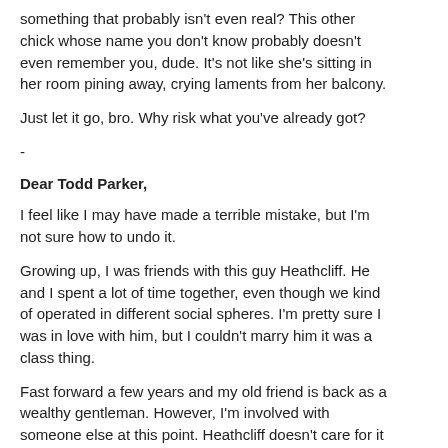something that probably isn't even real? This other chick whose name you don't know probably doesn't even remember you, dude. It's not like she's sitting in her room pining away, crying laments from her balcony.
Just let it go, bro. Why risk what you've already got?
-
Dear Todd Parker,
I feel like I may have made a terrible mistake, but I'm not sure how to undo it.
Growing up, I was friends with this guy Heathcliff. He and I spent a lot of time together, even though we kind of operated in different social spheres. I'm pretty sure I was in love with him, but I couldn't marry him it was a class thing.
Fast forward a few years and my old friend is back as a wealthy gentleman. However, I'm involved with someone else at this point. Heathcliff doesn't care for it at all and it kind of hurts to see him so upset, but I'm so glad to see him again. My husband doesn't like that Heathcliff is back, which I totally understand. However, I'm also a little peeved because Heathcliff is getting into something with my sister-in-law.
Am I being unreasonable to want to spend time with my friend even though my husband doesn't like it? And is it wrong to want Heathcliff to stop dallying